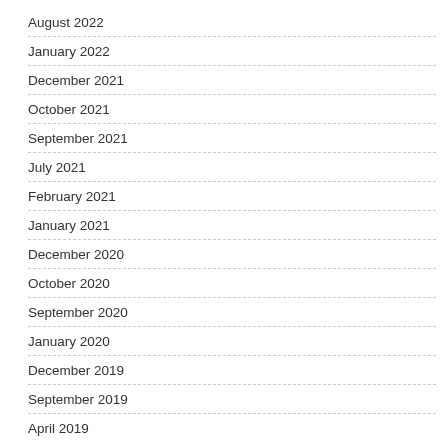August 2022
January 2022
December 2021
October 2021
September 2021
July 2021
February 2021
January 2021
December 2020
October 2020
September 2020
January 2020
December 2019
September 2019
April 2019